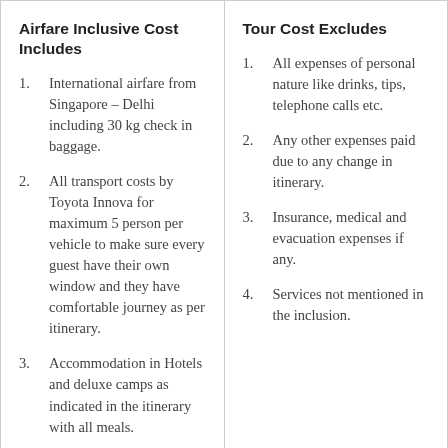Airfare Inclusive Cost Includes
1. International airfare from Singapore – Delhi including 30 kg check in baggage.
2. All transport costs by Toyota Innova for maximum 5 person per vehicle to make sure every guest have their own window and they have comfortable journey as per itinerary.
3. Accommodation in Hotels and deluxe camps as indicated in the itinerary with all meals.
4. One mobile phone for group use to connect with hotel and driver.
Tour Cost Excludes
1. All expenses of personal nature like drinks, tips, telephone calls etc.
2. Any other expenses paid due to any change in itinerary.
3. Insurance, medical and evacuation expenses if any.
4. Services not mentioned in the inclusion.